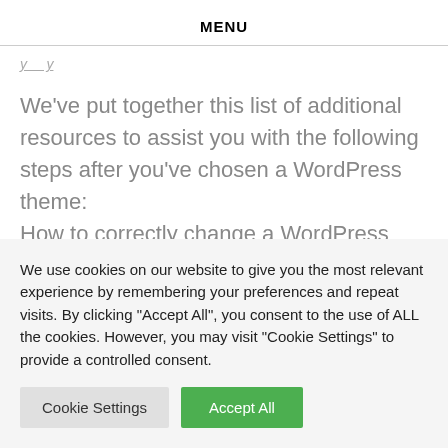MENU
We've put together this list of additional resources to assist you with the following steps after you've chosen a WordPress theme: How to correctly change a WordPress theme (ultimate guide). Before switching to a WordPress theme, there
We use cookies on our website to give you the most relevant experience by remembering your preferences and repeat visits. By clicking "Accept All", you consent to the use of ALL the cookies. However, you may visit "Cookie Settings" to provide a controlled consent.